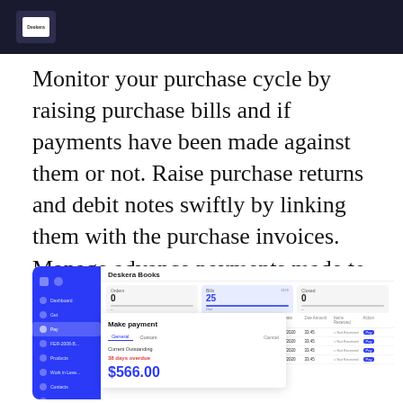Deskera logo header bar
Monitor your purchase cycle by raising purchase bills and if payments have been made against them or not. Raise purchase returns and debit notes swiftly by linking them with the purchase invoices. Manage advance payments made to Vendors and link them with Purchase Bills to track the entire purchase cycle in a single place.
[Figure (screenshot): Screenshot of Deskera Books application showing a purchase bills dashboard with a Make payment panel showing Current Outstanding of $566.00 with 38 days overdue, and a list of bill entries marked as Not Received]